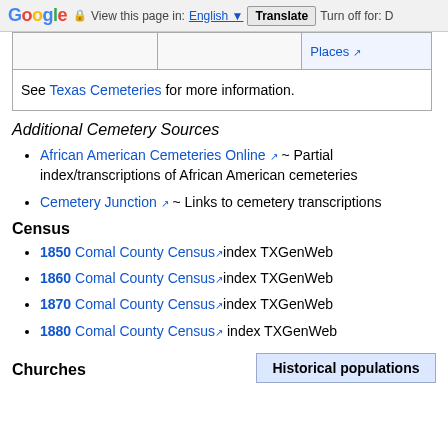Google View this page in: English Translate Turn off for: D
|  |  | Places↗ |
| See Texas Cemeteries for more information. |
Additional Cemetery Sources
African American Cemeteries Online ↗ ~ Partial index/transcriptions of African American cemeteries
Cemetery Junction ↗ ~ Links to cemetery transcriptions
Census
1850 Comal County Census ↗ index TXGenWeb
1860 Comal County Census ↗ index TXGenWeb
1870 Comal County Census ↗ index TXGenWeb
1880 Comal County Census ↗ index TXGenWeb
Churches
| Historical populations |
| --- |